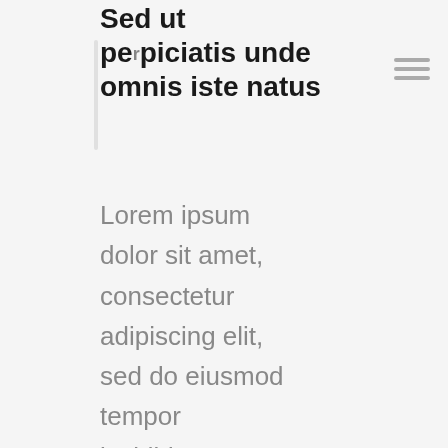Sed ut perspiciatis unde omnis iste natus
Lorem ipsum dolor sit amet, consectetur adipiscing elit, sed do eiusmod tempor incididunt ut labore et dolore magna aliqua. Ut enim ad minim veniam, quis nostrud exercitation ullamco laboris